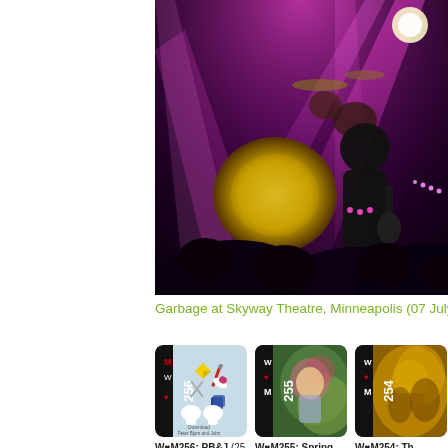[Figure (photo): Concert photo of Garbage performing at Skyway Theatre, Minneapolis. Stage lit with bright pink/magenta beams. Band members visible including a guitarist in dark shirt. Crowd silhouettes in foreground. Large bass drum visible on left side of stage.]
Garbage at Skyway Theatre, Minneapolis (07 July
[Figure (photo): W♥M256 album/playlist cover: light blue background with cartoon items including a diamond, knife, scissors, pill, blue cube, and mickey mouse gloves. Text reads 'Download Peter Bjorn and John'. Issue number 256 shown vertically on left in black.]
W♥M256: PB&J (25 June
[Figure (photo): W♥M255 Spring 2016 cover: colorful illustrated artwork showing a person among flowers/plants with green and pink tones. Issue number 255 shown vertically on left.]
W♥M255: Spring 2016
[Figure (photo): W♥M254 cover: golden/yellow toned artwork showing hands or figures. Issue number 254 shown vertically on left.]
W♥M254: Th